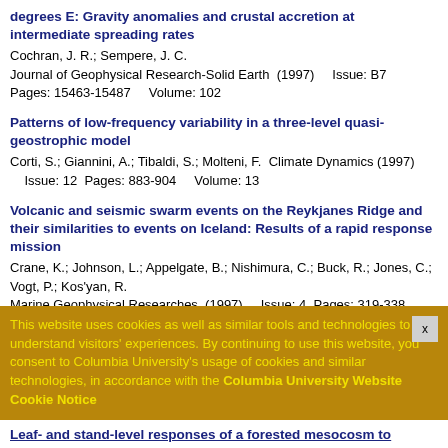degrees E: Gravity anomalies and crustal accretion at intermediate spreading rates
Cochran, J. R.; Sempere, J. C.
Journal of Geophysical Research-Solid Earth  (1997)    Issue: B7
Pages: 15463-15487    Volume: 102
Patterns of low-frequency variability in a three-level quasi-geostrophic model
Corti, S.; Giannini, A.; Tibaldi, S.; Molteni, F.  Climate Dynamics (1997)    Issue: 12  Pages: 883-904    Volume: 13
Volcanic and seismic swarm events on the Reykjanes Ridge and their similarities to events on Iceland: Results of a rapid response mission
Crane, K.; Johnson, L.; Appelgate, B.; Nishimura, C.; Buck, R.; Jones, C.; Vogt, P.; Kos'yan, R.
Marine Geophysical Researches  (1997)    Issue: 4  Pages: 319-338
This website uses cookies as well as similar tools and technologies to understand visitors' experiences. By continuing to use this website, you consent to Columbia University's usage of cookies and similar technologies, in accordance with the Columbia University Website Cookie Notice
Leaf- and stand-level responses of a forested mesocosm to